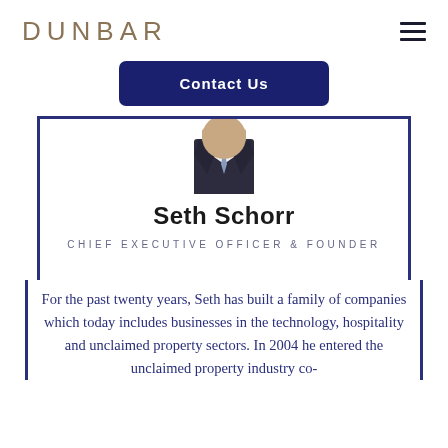DUNBAR
[Figure (illustration): Navigation hamburger menu icon with three horizontal lines]
[Figure (photo): Contact Us button (dark navy blue rounded rectangle with white bold text)]
[Figure (photo): Partial photo of a person in a dark suit with tie, showing shoulders and lower face, inside a bordered card]
Seth Schorr
CHIEF EXECUTIVE OFFICER & FOUNDER
For the past twenty years, Seth has built a family of companies which today includes businesses in the technology, hospitality and unclaimed property sectors. In 2004 he entered the unclaimed property industry co-